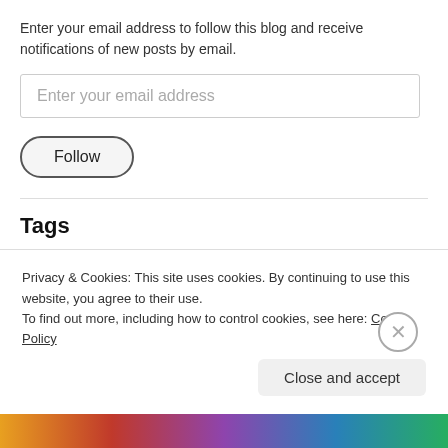Enter your email address to follow this blog and receive notifications of new posts by email.
Enter your email address
Follow
Tags
1 Corinthians 13  1 John  1 Thessalonians 4  Advent  age of earth
Christ
Privacy & Cookies: This site uses cookies. By continuing to use this website, you agree to their use.
To find out more, including how to control cookies, see here: Cookie Policy
Close and accept